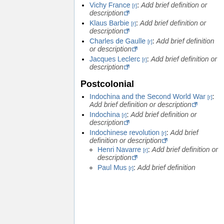Vichy France [r]: Add brief definition or description
Klaus Barbie [r]: Add brief definition or description
Charles de Gaulle [r]: Add brief definition or description
Jacques Leclerc [r]: Add brief definition or description
Postcolonial
Indochina and the Second World War [r]: Add brief definition or description
Indochina [r]: Add brief definition or description
Indochinese revolution [r]: Add brief definition or description
Henri Navarre [r]: Add brief definition or description
Paul Mus [r]: Add brief definition